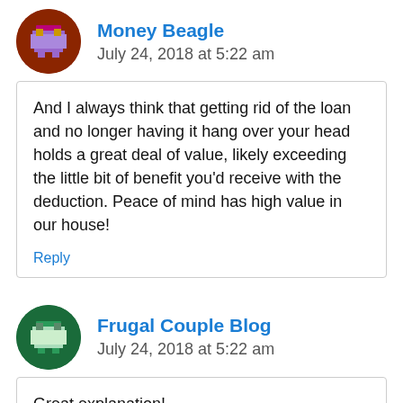[Figure (illustration): Round avatar icon for Money Beagle, brown/dark red background with pixel art figure]
Money Beagle
July 24, 2018 at 5:22 am
And I always think that getting rid of the loan and no longer having it hang over your head holds a great deal of value, likely exceeding the little bit of benefit you'd receive with the deduction. Peace of mind has high value in our house!
Reply
[Figure (illustration): Round avatar icon for Frugal Couple Blog, dark green background with pixel art figure]
Frugal Couple Blog
July 24, 2018 at 5:22 am
Great explanation!